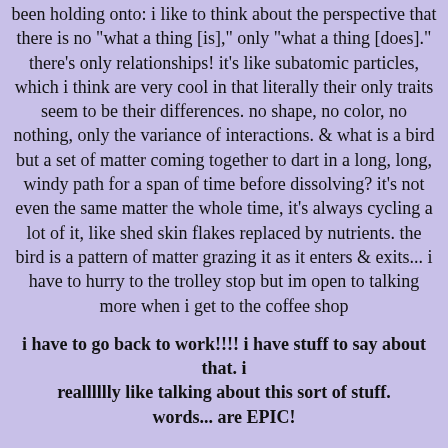been holding onto: i like to think about the perspective that there is no "what a thing [is]," only "what a thing [does]." there's only relationships! it's like subatomic particles, which i think are very cool in that literally their only traits seem to be their differences. no shape, no color, no nothing, only the variance of interactions. & what is a bird but a set of matter coming together to dart in a long, long, windy path for a span of time before dissolving? it's not even the same matter the whole time, it's always cycling a lot of it, like shed skin flakes replaced by nutrients. the bird is a pattern of matter grazing it as it enters & exits... i have to hurry to the trolley stop but im open to talking more when i get to the coffee shop
i have to go back to work!!!! i have stuff to say about that. i realllllly like talking about this sort of stuff. words... are EPIC!